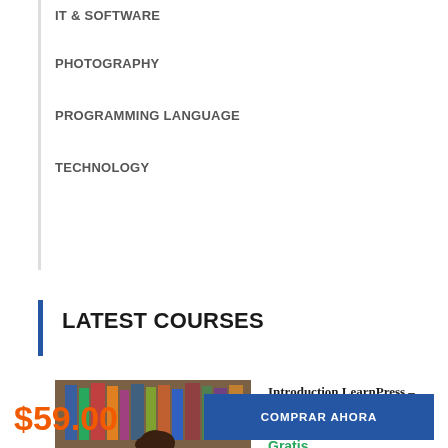IT & SOFTWARE
PHOTOGRAPHY
PROGRAMMING LANGUAGE
TECHNOLOGY
LATEST COURSES
[Figure (photo): Student studying with head resting on hand, surrounded by books in a library]
Introduction LearnPress – LMS plugin
Gratis
[Figure (photo): Person writing on paper with orange background]
Become a PHP Master and Make Money
$59.00
COMPRAR AHORA